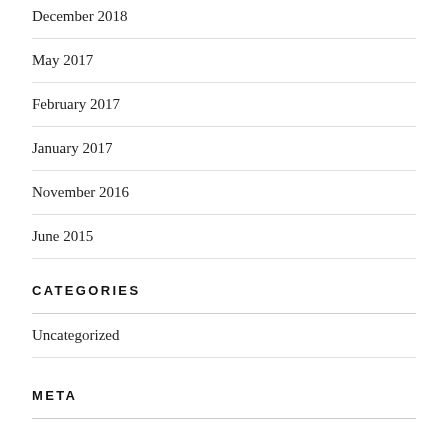December 2018
May 2017
February 2017
January 2017
November 2016
June 2015
CATEGORIES
Uncategorized
META